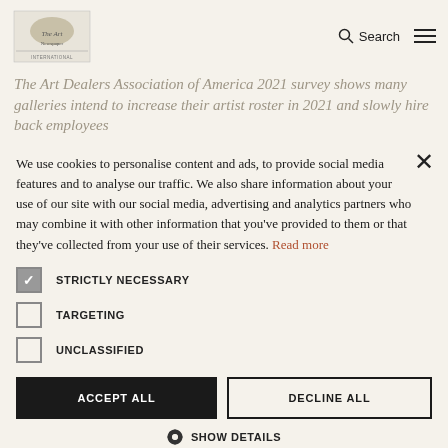Art Dealers Association of America 2021 survey — Search / Menu
The Art Dealers Association of America 2021 survey shows many galleries intend to increase their artist roster in 2021 and slowly hire back employees
We use cookies to personalise content and ads, to provide social media features and to analyse our traffic. We also share information about your use of our site with our social media, advertising and analytics partners who may combine it with other information that you've provided to them or that they've collected from your use of their services. Read more
STRICTLY NECESSARY (checked)
TARGETING (unchecked)
UNCLASSIFIED (unchecked)
ACCEPT ALL | DECLINE ALL
SHOW DETAILS